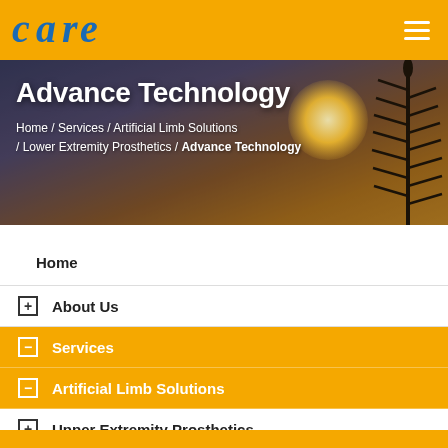Header with logo and hamburger menu
[Figure (photo): Hero banner with sunset and plant silhouette background, showing page title 'Advance Technology' and breadcrumb navigation]
Advance Technology
Home / Services / Artificial Limb Solutions / Lower Extremity Prosthetics / Advance Technology
Home
About Us
Services
Artificial Limb Solutions
Upper Extremity Prosthetics